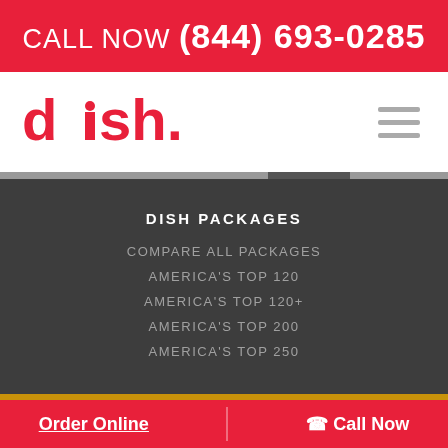CALL NOW (844) 693-0285
[Figure (logo): DISH Network logo in red]
DISH PACKAGES
COMPARE ALL PACKAGES
AMERICA'S TOP 120
AMERICA'S TOP 120+
AMERICA'S TOP 200
AMERICA'S TOP 250
Order Online   Call Now